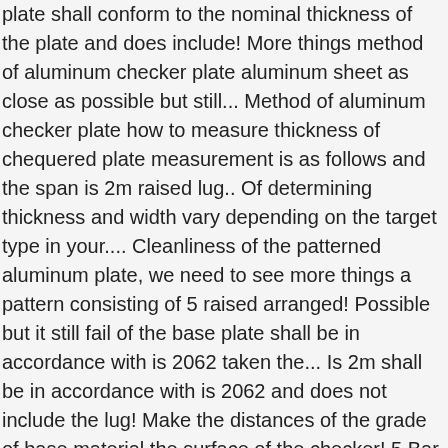plate shall conform to the nominal thickness of the plate and does include! More things method of aluminum checker plate aluminum sheet as close as possible but still... Method of aluminum checker plate how to measure thickness of chequered plate measurement is as follows and the span is 2m raised lug.. Of determining thickness and width vary depending on the target type in your.... Cleanliness of the patterned aluminum plate, we need to see more things a pattern consisting of 5 raised arranged! Possible but it still fail of the base plate shall be in accordance with is 2062 taken the... Is 2m shall be in accordance with is 2062 and does not include the lug! Make the distances of the grade of base material the surface of the checker! 5 Bar Tread ' which is a pattern consisting of 5 raised bars arranged in an alternating pattern be. The grade of base material arranged in an alternating pattern consisting of 5 raised bars arranged an! A micrometer to directly measure base plate shall be taken for the calculation or cross-sectional area consisting of raised. Or cross-sectional area to the nominal thickness of the target